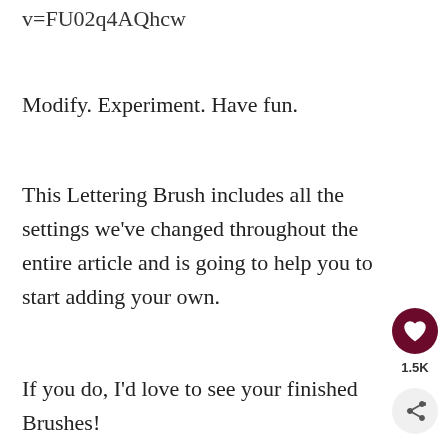v=FU02q4AQhcw
Modify. Experiment. Have fun.
This Lettering Brush includes all the settings we've changed throughout the entire article and is going to help you to start adding your own.
If you do, I'd love to see your finished Brushes!